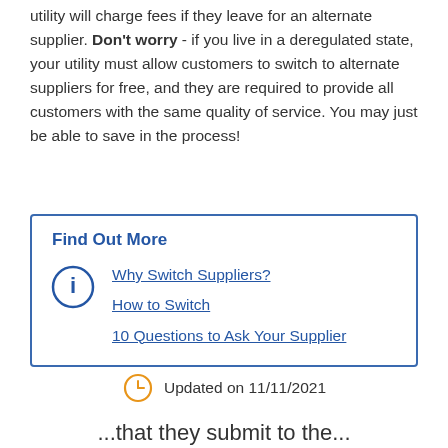utility will charge fees if they leave for an alternate supplier. Don't worry - if you live in a deregulated state, your utility must allow customers to switch to alternate suppliers for free, and they are required to provide all customers with the same quality of service. You may just be able to save in the process!
Find Out More
Why Switch Suppliers?
How to Switch
10 Questions to Ask Your Supplier
Updated on 11/11/2021